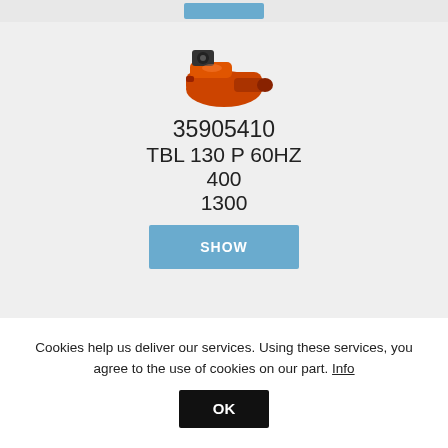[Figure (other): Top navigation bar with a blue button (partially visible at top)]
[Figure (photo): Orange industrial burner unit, front-facing, product 35905410 TBL 130 P 60HZ]
35905410
TBL 130 P 60HZ
400
1300
[Figure (other): Blue SHOW button]
[Figure (photo): Orange industrial burner unit, front-facing, product 35905420 TBL 130 P DACA 60HZ]
35905420
TBL 130 P DACA 60HZ
400
1300
Cookies help us deliver our services. Using these services, you agree to the use of cookies on our part. Info